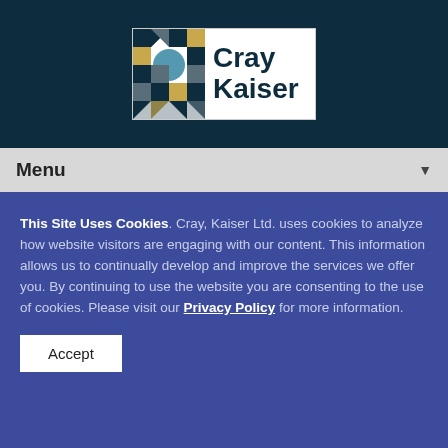[Figure (logo): Cray Kaiser logo with geometric pattern and company name]
Menu
This Site Uses Cookies. Cray, Kaiser Ltd. uses cookies to analyze how website visitors are engaging with our content. This information allows us to continually develop and improve the services we offer you. By continuing to use the website you are consenting to the use of cookies. Please visit our Privacy Policy for more information.
Accept